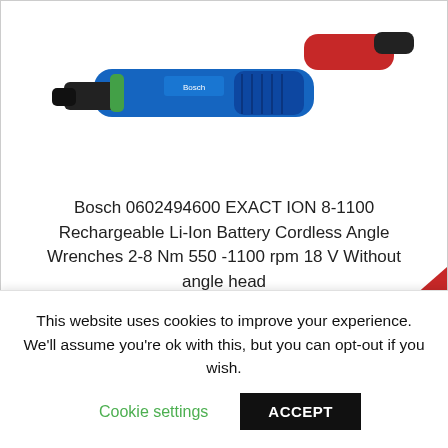[Figure (photo): Bosch cordless angle wrench tool shown from the side, blue and black body with green accent ring, on white background]
Bosch 0602494600 EXACT ION 8-1100 Rechargeable Li-Ion Battery Cordless Angle Wrenches 2-8 Nm 550 -1100 rpm 18 V Without angle head
£1,048.95  £839.00 EX VAT
This website uses cookies to improve your experience. We'll assume you're ok with this, but you can opt-out if you wish.
Cookie settings
ACCEPT